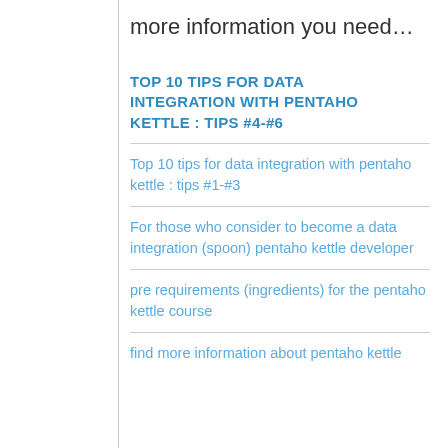more information you need…
TOP 10 TIPS FOR DATA INTEGRATION WITH PENTAHO KETTLE : TIPS #4-#6
Top 10 tips for data integration with pentaho kettle : tips #1-#3
For those who consider to become a data integration (spoon) pentaho kettle developer
pre requirements (ingredients) for the pentaho kettle course
find more information about pentaho kettle